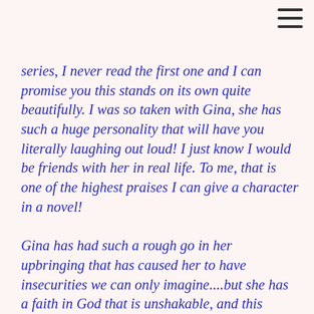[Figure (other): Hamburger menu icon (three horizontal lines) in top-right corner]
series, I never read the first one and I can promise you this stands on its own quite beautifully. I was so taken with Gina, she has such a huge personality that will have you literally laughing out loud! I just know I would be friends with her in real life. To me, that is one of the highest praises I can give a character in a novel!
Gina has had such a rough go in her upbringing that has caused her to have insecurities we can only imagine....but she has a faith in God that is unshakable, and this makes for one amazing heroine! Gina is so giving and caring about everyone around her, that sometimes you lose sight of yourself, until you meet that one person who really sees inside you....enter Jaydon. Ah, the big bear of a youth pastor that has such a gentle heart...a heart that has been broken, but